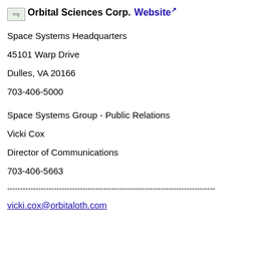Orbital Sciences Corp. Website
Space Systems Headquarters
45101 Warp Drive
Dulles, VA 20166
703-406-5000
Space Systems Group - Public Relations
Vicki Cox
Director of Communications
703-406-5663
--------------------------------------------------------------------------------
vicki.cox@orbitaloth.com